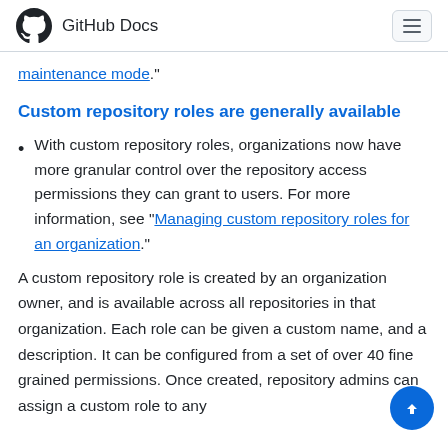GitHub Docs
maintenance mode."
Custom repository roles are generally available
With custom repository roles, organizations now have more granular control over the repository access permissions they can grant to users. For more information, see "Managing custom repository roles for an organization."
A custom repository role is created by an organization owner, and is available across all repositories in that organization. Each role can be given a custom name, and a description. It can be configured from a set of over 40 fine grained permissions. Once created, repository admins can assign a custom role to any